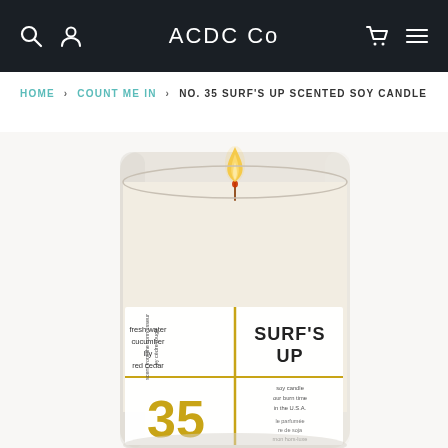ACDC Co
HOME > COUNT ME IN > NO. 35 SURF'S UP SCENTED SOY CANDLE
[Figure (photo): A lit soy candle in a glass jar with a white label reading SURF'S UP No. 35. The label lists scent notes: fresh water, cucumber, lily, red cedar. The candle has a gold/yellow number 35 and a burning wick with flame.]